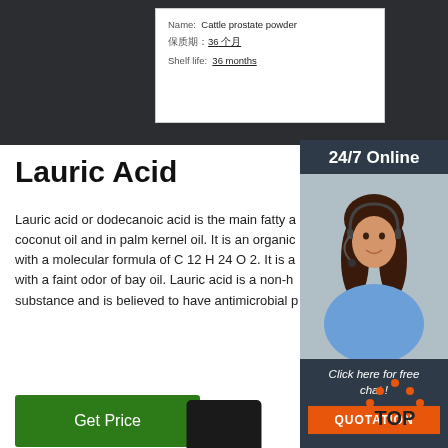[Figure (photo): Dark fabric background with a white product label card showing 'Name: Cattle prostate powder', '保质期: 36个月', 'Shelf life: 36 months']
Name:  Cattle prostate powder
保质期: 36 个月
Shelf life:  36 months
Lauric Acid
Lauric acid or dodecanoic acid is the main fatty a… coconut oil and in palm kernel oil. It is an organic with a molecular formula of C 12 H 24 O 2. It is a with a faint odor of bay oil. Lauric acid is a non-h substance and is believed to have antimicrobial p
[Figure (photo): 24/7 Online sidebar panel with photo of woman with headset, 'Click here for free chat!' text, and orange QUOTATION button]
[Figure (other): Get Price green button]
[Figure (other): TOP navigation button with orange dots arranged in arc above text]
[Figure (photo): Black cylindrical product bottle cap visible at bottom center]